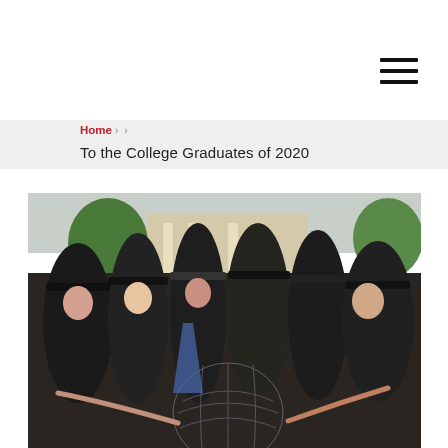Home > > To the College Graduates of 2020
To the College Graduates of 2020
[Figure (photo): Graduation ceremony photo showing college graduates in black gowns and mortarboard caps walking in a procession, holding an inflatable globe. A university building with columns is visible in the background along with trees and a crowd of attendees.]